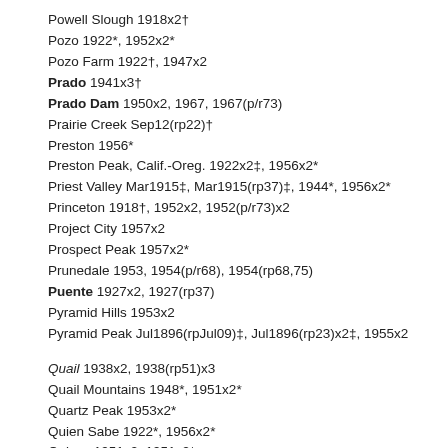Powell Slough 1918x2†
Pozo 1922*, 1952x2*
Pozo Farm 1922†, 1947x2
Prado 1941x3†
Prado Dam 1950x2, 1967, 1967(p/r73)
Prairie Creek Sep12(rp22)†
Preston 1956*
Preston Peak, Calif.-Oreg. 1922x2‡, 1956x2*
Priest Valley Mar1915‡, Mar1915(rp37)‡, 1944*, 1956x2*
Princeton 1918†, 1952x2, 1952(p/r73)x2
Project City 1957x2
Prospect Peak 1957x2*
Prunedale 1953, 1954(p/r68), 1954(rp68,75)
Puente 1927x2, 1927(rp37)
Pyramid Hills 1953x2
Pyramid Peak Jul1896(rpJul09)‡, Jul1896(rp23)x2‡, 1955x2
Quail 1938x2, 1938(rp51)x3
Quail Mountains 1948*, 1951x2*
Quartz Peak 1953x2*
Quien Sabe 1922*, 1956x2*
Quincy 1951x2, 1951x2*
Quincy School 1929†, 1926(rp57)
Rabbit Peak 1959x2*
Rackersby 1950x2
Railroad Flat 1949x2